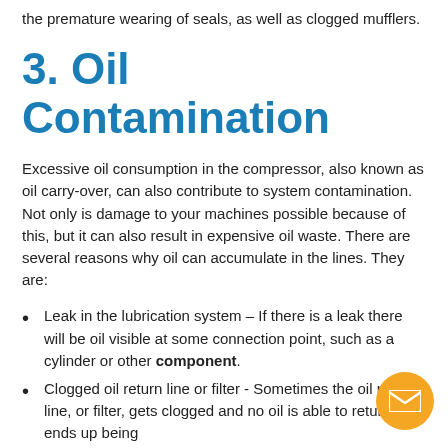the premature wearing of seals, as well as clogged mufflers.
3. Oil Contamination
Excessive oil consumption in the compressor, also known as oil carry-over, can also contribute to system contamination.  Not only is damage to your machines possible because of this, but it can also result in expensive oil waste. There are several reasons why oil can accumulate in the lines. They are:
Leak in the lubrication system – If there is a leak there will be oil visible at some connection point, such as a cylinder or other component.
Clogged oil return line or filter - Sometimes the oil return line, or filter, gets clogged and no oil is able to return. It ends up being